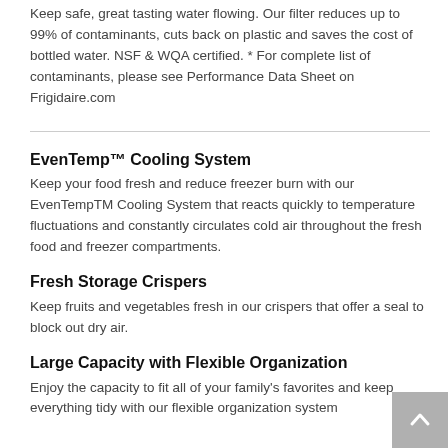Keep safe, great tasting water flowing. Our filter reduces up to 99% of contaminants, cuts back on plastic and saves the cost of bottled water. NSF & WQA certified. * For complete list of contaminants, please see Performance Data Sheet on Frigidaire.com
EvenTemp™ Cooling System
Keep your food fresh and reduce freezer burn with our EvenTempTM Cooling System that reacts quickly to temperature fluctuations and constantly circulates cold air throughout the fresh food and freezer compartments.
Fresh Storage Crispers
Keep fruits and vegetables fresh in our crispers that offer a seal to block out dry air.
Large Capacity with Flexible Organization
Enjoy the capacity to fit all of your family's favorites and keep everything tidy with our flexible organization system